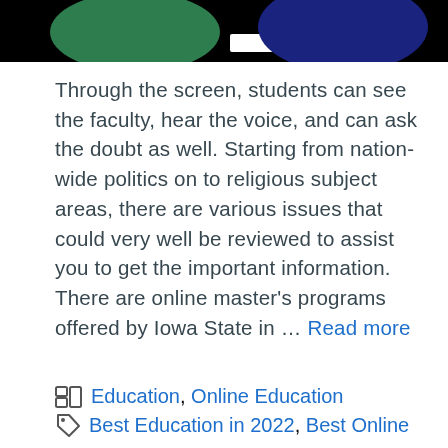[Figure (illustration): Black banner with green oval shape on left and dark blue oval shape on right, with a white bar in the center]
Through the screen, students can see the faculty, hear the voice, and can ask the doubt as well. Starting from nation-wide politics on to religious subject areas, there are various issues that could very well be reviewed to assist you to get the important information. There are online master's programs offered by Iowa State in … Read more
Education, Online Education
Best Education in 2022, Best Online